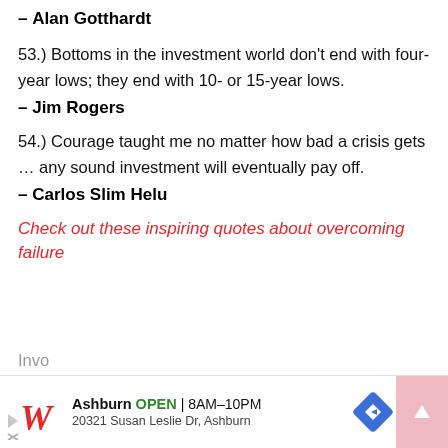– Alan Gotthardt
53.) Bottoms in the investment world don't end with four-year lows; they end with 10- or 15-year lows.
– Jim Rogers
54.) Courage taught me no matter how bad a crisis gets … any sound investment will eventually pay off.
– Carlos Slim Helu
Check out these inspiring quotes about overcoming failure
Invo...
Ashburn OPEN | 8AM–10PM 20321 Susan Leslie Dr, Ashburn